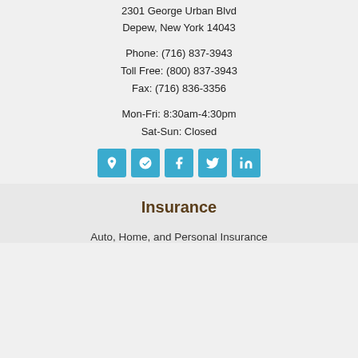McMahon Agency
2301 George Urban Blvd
Depew, New York 14043
Phone: (716) 837-3943
Toll Free: (800) 837-3943
Fax: (716) 836-3356
Mon-Fri: 8:30am-4:30pm
Sat-Sun: Closed
[Figure (infographic): Row of 5 social media icon buttons: map pin, Yelp, Facebook, Twitter, LinkedIn — all in light blue square buttons]
Insurance
Auto, Home, and Personal Insurance